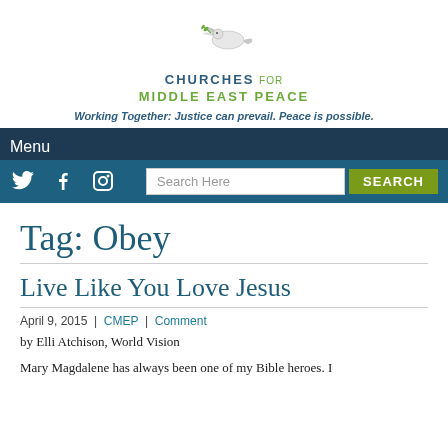[Figure (logo): Churches for Middle East Peace logo with dove and olive branch]
Working Together: Justice can prevail. Peace is possible.
Menu
[Figure (infographic): Navigation bar with Twitter, Facebook, Instagram social icons and a search box with SEARCH button]
Tag: Obey
Live Like You Love Jesus
April 9, 2015  |  CMEP  |  Comment
by Elli Atchison, World Vision
Mary Magdalene has always been one of my Bible heroes. I